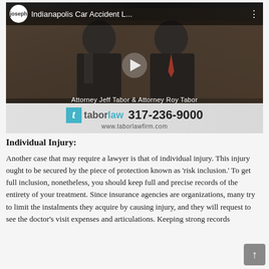[Figure (screenshot): YouTube-style video thumbnail showing two men in suits (Attorney Jeff Tabor & Attorney Roy Tabor) with a play button overlay. Top bar shows 'joseph' logo circle and title 'Indianapolis Car Accident L...'. Bottom bar shows Tabor Law logo with phone number 317-236-9000 and website www.taborlawfirm.com.]
Individual Injury:
Another case that may require a lawyer is that of individual injury. This injury ought to be secured by the piece of protection known as 'risk inclusion.' To get full inclusion, nonetheless, you should keep full and precise records of the entirety of your treatment. Since insurance agencies are organizations, many try to limit the instalments they acquire by causing injury, and they will request to see the doctor's visit expenses and articulations. Keeping strong records